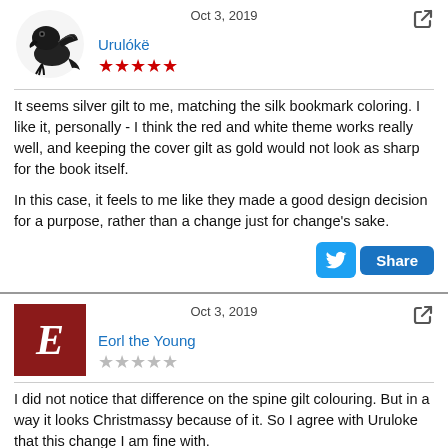Oct 3, 2019
[Figure (illustration): Dragon/creature avatar image in black ink]
Urulókë
[Figure (other): 5 red star rating]
It seems silver gilt to me, matching the silk bookmark coloring. I like it, personally - I think the red and white theme works really well, and keeping the cover gilt as gold would not look as sharp for the book itself.

In this case, it feels to me like they made a good design decision for a purpose, rather than a change just for change's sake.
[Figure (other): Twitter share button with Share label]
Oct 3, 2019
[Figure (illustration): Red square avatar with white italic E letter]
Eorl the Young
[Figure (other): 2 filled, 2 half, 1 empty star rating (grey stars)]
I did not notice that difference on the spine gilt colouring. But in a way it looks Christmassy because of it. So I agree with Uruloke that this change I am fine with.

My biggest disappoint has got to be the HoME series in this format. Goodness you can't even say it is part of this series because there are more differences than similarities 🙂